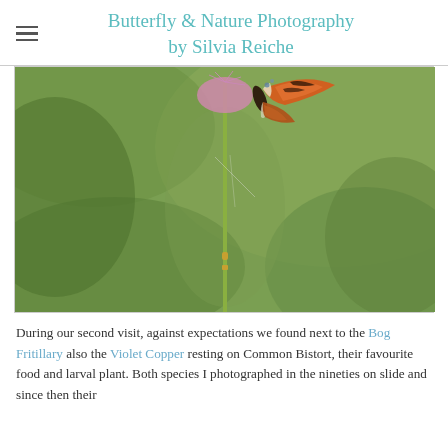Butterfly & Nature Photography by Silvia Reiche
[Figure (photo): A butterfly (Violet Copper) resting on top of a Common Bistort flower stem against a blurred green background. The butterfly shows orange and brown wing patterns with white edging. The stem is slender and green with a small pink flower at the top.]
During our second visit, against expectations we found next to the Bog Fritillary also the Violet Copper resting on Common Bistort, their favourite food and larval plant. Both species I photographed in the nineties on slide and since then their